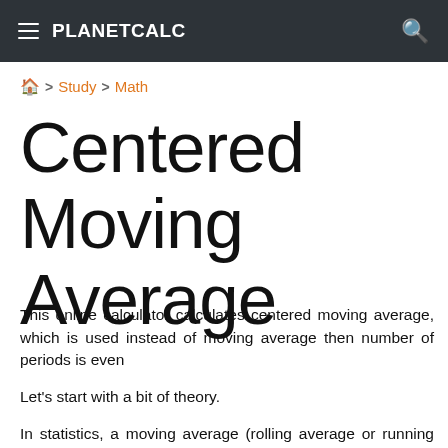PLANETCALC
🏠 > Study > Math
Centered Moving Average
This online calculator calculates centered moving average, which is used instead of moving average then number of periods is even
Let's start with a bit of theory.
In statistics, a moving average (rolling average or running average) is a calculation to analyze data points by creating a series of averages of different subsets of the full data set.